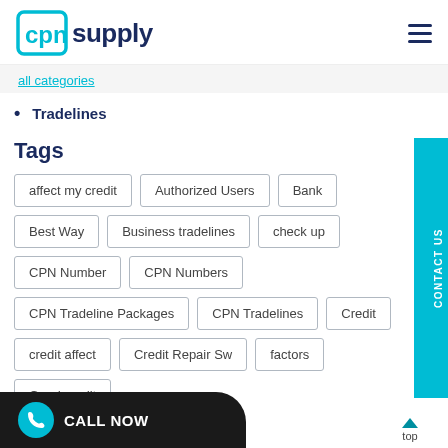CPN Supply
all categories
Tradelines
Tags
affect my credit
Authorized Users
Bank
Best Way
Business tradelines
check up
CPN Number
CPN Numbers
CPN Tradeline Packages
CPN Tradelines
Credit
credit affect
Credit Repair Sw
factors
Good credit